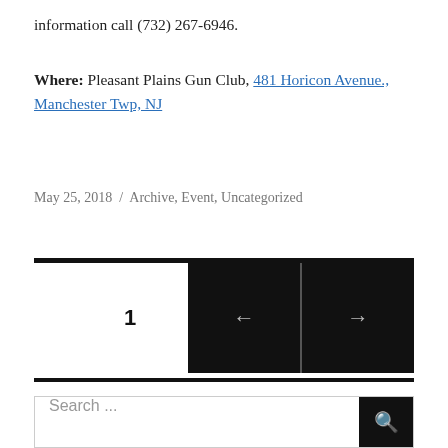information call (732) 267-6946.
Where:  Pleasant Plains Gun Club, 481 Horicon Avenue., Manchester Twp, NJ
May 25, 2018  /  Archive, Event, Uncategorized
1
Search ...